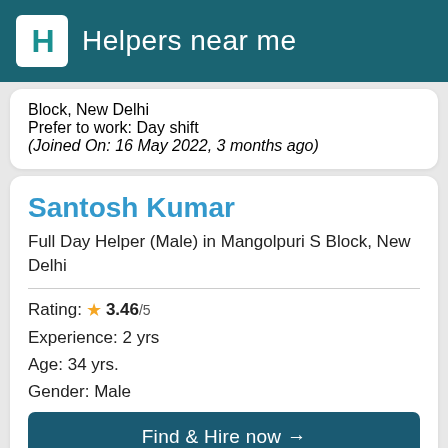Helpers near me
Block, New Delhi
Prefer to work: Day shift
(Joined On: 16 May 2022, 3 months ago)
Santosh Kumar
Full Day Helper (Male) in Mangolpuri S Block, New Delhi
Rating: ★ 3.46/5
Experience: 2 yrs
Age: 34 yrs.
Gender: Male
Find & Hire now →
Verified: Yes